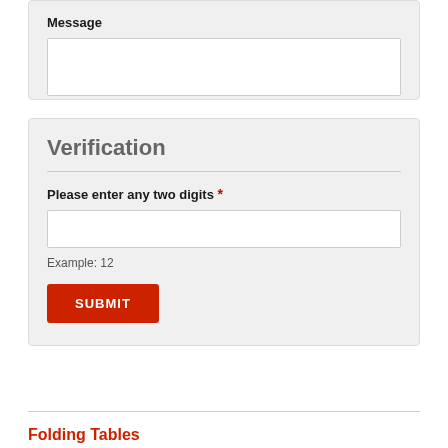Message
Verification
Please enter any two digits *
Example: 12
SUBMIT
Folding Tables